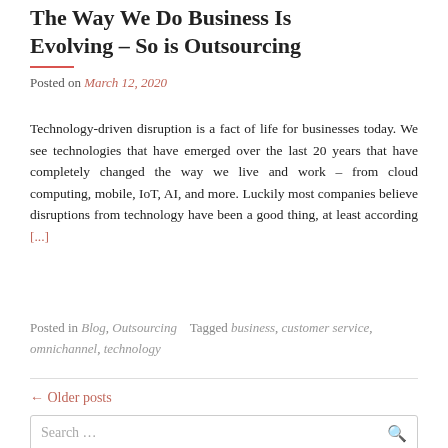The Way We Do Business Is Evolving – So is Outsourcing
Posted on March 12, 2020
Technology-driven disruption is a fact of life for businesses today. We see technologies that have emerged over the last 20 years that have completely changed the way we live and work – from cloud computing, mobile, IoT, AI, and more. Luckily most companies believe disruptions from technology have been a good thing, at least according [...]
Posted in Blog, Outsourcing    Tagged business, customer service, omnichannel, technology
← Older posts
Search …
RECENT POSTS